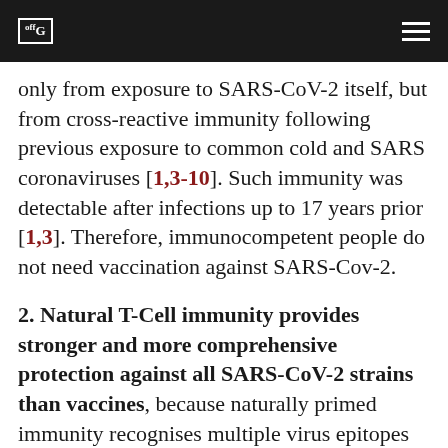offG [logo]
only from exposure to SARS-CoV-2 itself, but from cross-reactive immunity following previous exposure to common cold and SARS coronaviruses [1,3-10]. Such immunity was detectable after infections up to 17 years prior [1,3]. Therefore, immunocompetent people do not need vaccination against SARS-Cov-2.
2. Natural T-Cell immunity provides stronger and more comprehensive protection against all SARS-CoV-2 strains than vaccines, because naturally primed immunity recognises multiple virus epitopes and costimulatory signals, not